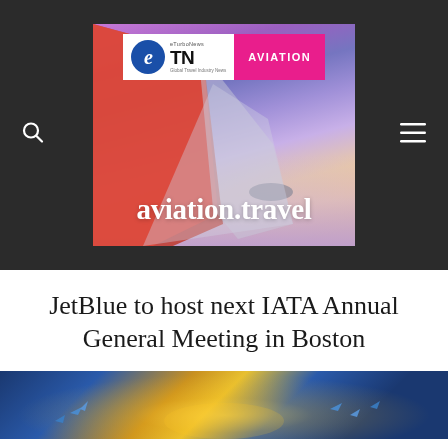[Figure (logo): eTN Aviation banner with airplane wing and clouds in purple/pink sky, with aviation.travel domain text]
JetBlue to host next IATA Annual General Meeting in Boston
[Figure (photo): Aircraft with light ring effects in dark blue background, bottom strip of article image]